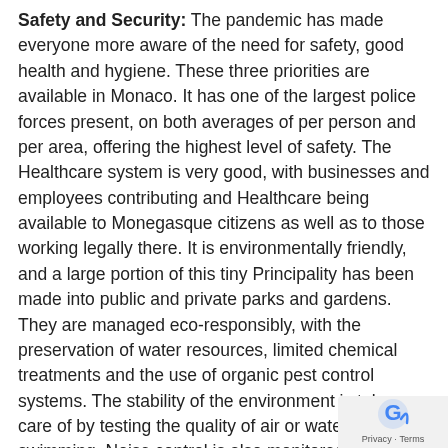Safety and Security: The pandemic has made everyone more aware of the need for safety, good health and hygiene. These three priorities are available in Monaco. It has one of the largest police forces present, on both averages of per person and per area, offering the highest level of safety. The Healthcare system is very good, with businesses and employees contributing and Healthcare being available to Monegasque citizens as well as to those working legally there. It is environmentally friendly, and a large portion of this tiny Principality has been made into public and private parks and gardens. They are managed eco-responsibly, with the preservation of water resources, limited chemical treatments and the use of organic pest control systems. The stability of the environment is taken care of by testing the quality of air or water used for swimming. Noise control is also monitored. With this type of care, it is only “natural” that the real estate market will be expensive!